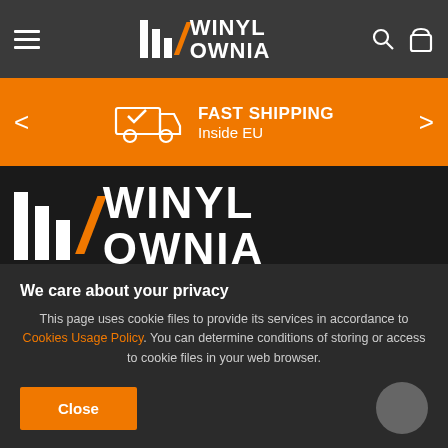Winyłownia navigation bar with hamburger menu, logo, search and cart icons
[Figure (infographic): Orange shipping banner with truck icon, FAST SHIPPING text, Inside EU subtitle, and navigation arrows]
[Figure (logo): Large Winyłownia logo on dark background]
We care about your privacy
This page uses cookie files to provide its services in accordance to Cookies Usage Policy. You can determine conditions of storing or access to cookie files in your web browser.